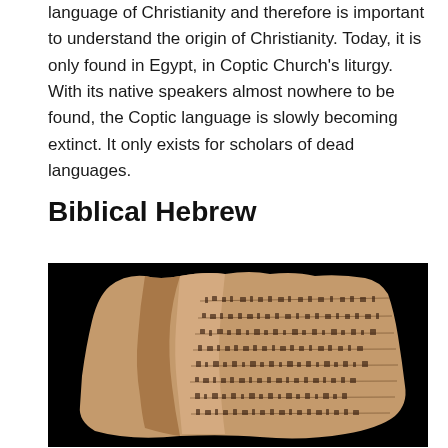language of Christianity and therefore is important to understand the origin of Christianity. Today, it is only found in Egypt, in Coptic Church's liturgy. With its native speakers almost nowhere to be found, the Coptic language is slowly becoming extinct. It only exists for scholars of dead languages.
Biblical Hebrew
[Figure (photo): Photograph of an ancient stone tablet with inscribed text, shown against a black background. The tablet appears broken and irregularly shaped, with ancient script carved across its surface.]